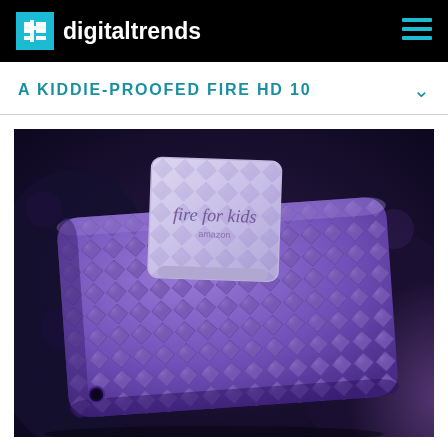digitaltrends
A KIDDIE-PROOFED FIRE HD 10
[Figure (photo): A purple Amazon Fire HD 10 Kids Edition tablet in landscape orientation, resting on a dark floral surface. The tablet is shown from the back, encased in a thick purple protective rubber case with a diamond/cube texture pattern. A white stand/kickstand panel is raised showing the 'fire for kids' Amazon branding logo. The background appears to be dark fabric with purple tones.]